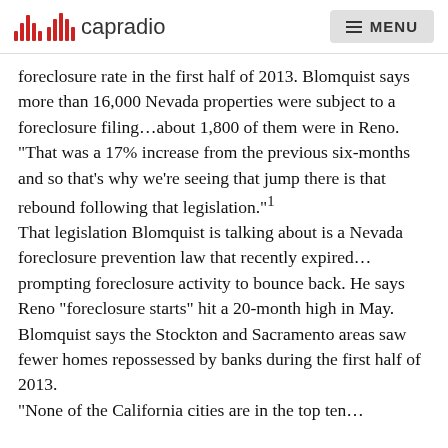capradio  MENU
foreclosure rate in the first half of 2013. Blomquist says more than 16,000 Nevada properties were subject to a foreclosure filing…about 1,800 of them were in Reno. “That was a 17% increase from the previous six-months and so that’s why we’re seeing that jump there is that rebound following that legislation.”¹
That legislation Blomquist is talking about is a Nevada foreclosure prevention law that recently expired…prompting foreclosure activity to bounce back. He says Reno “foreclosure starts” hit a 20-month high in May.
Blomquist says the Stockton and Sacramento areas saw fewer homes repossessed by banks during the first half of 2013.
“None of the California cities are in the top ten…